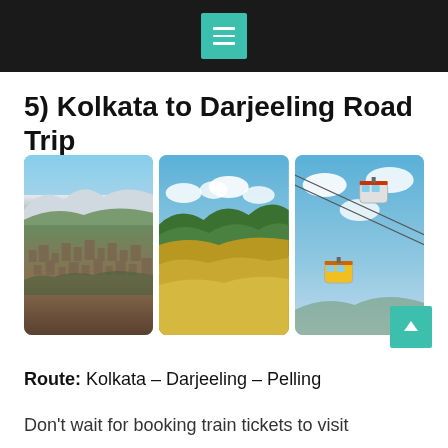Menu navigation bar with hamburger icon
5) Kolkata to Darjeeling Road Trip
[Figure (photo): Three travel photos side by side: aerial view of Darjeeling town with mountains and blue sky; green rolling hills with golden fields; cable cars against blue sky]
Route: Kolkata – Darjeeling – Pelling
Don't wait for booking train tickets to visit